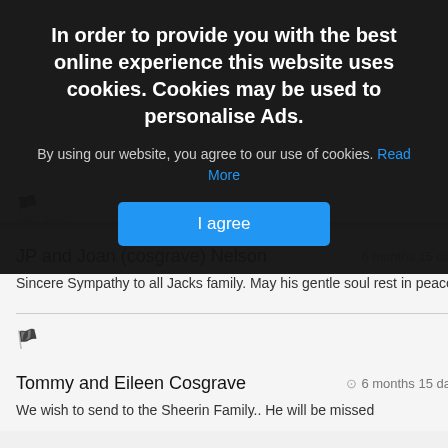In order to provide you with the best online experience this website uses cookies. Cookies may be used to personalise Ads.
By using our website, you agree to our use of cookies. Read More
I agree
JP and Joan (cosgrave) Nelson
6 months 15 days
Sincere Sympathy to all Jacks family. May his gentle soul rest in peace.
Tommy and Eileen Cosgrave
6 months 15 days
We wish to send to the Sheerin Family.. He will be missed